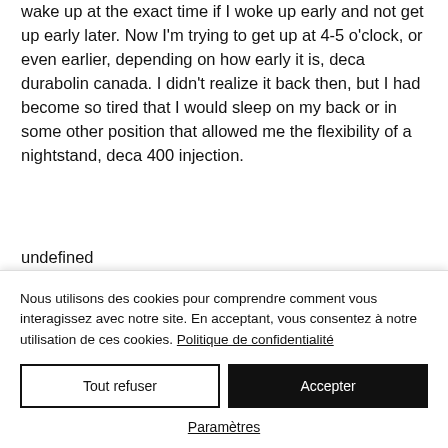wake up at the exact time if I woke up early and not get up early later. Now I'm trying to get up at 4-5 o'clock, or even earlier, depending on how early it is, deca durabolin canada. I didn't realize it back then, but I had become so tired that I would sleep on my back or in some other position that allowed me the flexibility of a nightstand, deca 400 injection.
undefined
Nous utilisons des cookies pour comprendre comment vous interagissez avec notre site. En acceptant, vous consentez à notre utilisation de ces cookies. Politique de confidentialité
Tout refuser
Accepter
Paramètres